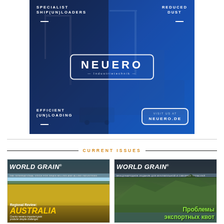[Figure (infographic): NEUERO Industrietechnik advertisement featuring industrial ship(un)loaders. Blue/dark blue split background with port/crane imagery. Text panels: SPECIALIST SHIP(UN)LOADERS (top left), REDUCED DUST (top right), NEUERO Industrietechnik logo in center with rounded rectangle border, EFFICIENT (UN)LOADING (bottom left), VISIT US AT NEUERO.DE (bottom right in rounded box).]
[Figure (photo): World Grain magazine cover showing Regional Review: AUSTRALIA with yellow canola field. Country remains important grain producer despite challenges.]
[Figure (photo): World Grain magazine cover in Russian/Cyrillic language showing green mountain landscape. Text: Проблемы экспортных квот.]